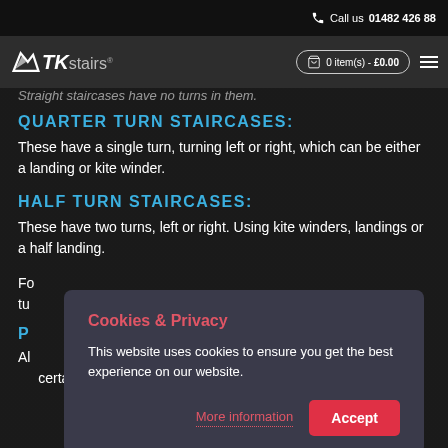Call us 01482 426 88
TK stairs | 0 item(s) - £0.00
Straight staircases have no turns in them.
QUARTER TURN STAIRCASES:
These have a single turn, turning left or right, which can be either a landing or kite winder.
HALF TURN STAIRCASES:
These have two turns, left or right. Using kite winders, landings or a half landing.
Fo... tu... w...
P...
Al... th... certain scenarios.
Cookies & Privacy
This website uses cookies to ensure you get the best experience on our website.
More information | Accept